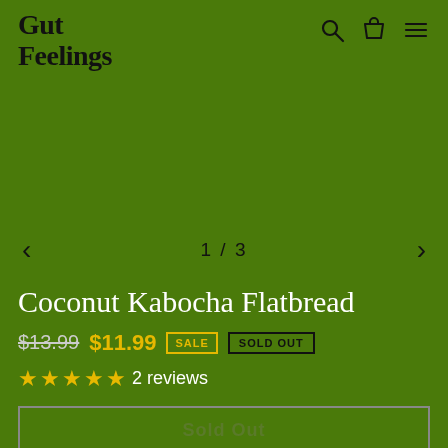Gut Feelings
[Figure (screenshot): Green product image area with navigation arrows and 1/3 counter]
Coconut Kabocha Flatbread
$13.99  $11.99  SALE  SOLD OUT
★★★★★ 2 reviews
Sold Out